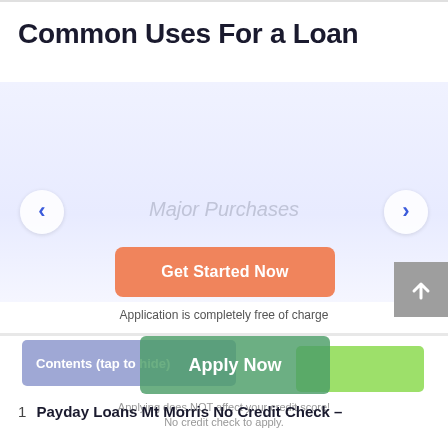Common Uses For a Loan
[Figure (other): Carousel section with left and right navigation arrows and a gradient blue background. Center shows faded text 'Major Purchases'.]
Major Purchases
Get Started Now
Application is completely free of charge
Contents (tap to hide)
Apply Now
Applying does NOT affect your credit score!
No credit check to apply.
1  Payday Loans Mt Morris No Credit Check – Principles of Work